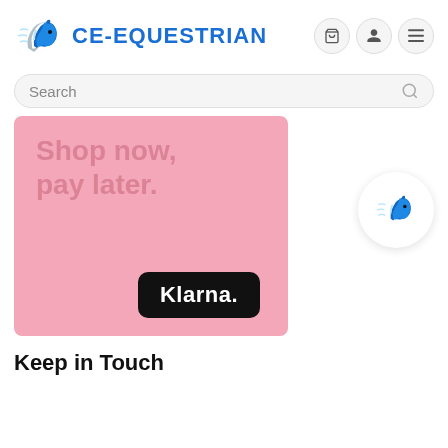[Figure (logo): CE-Equestrian logo with blue horse head icon and bold blue brand name CE-EQUESTRIAN]
[Figure (screenshot): Search bar with placeholder text 'Search' and magnifier icon, plus header icon buttons for cart, user, and menu]
[Figure (illustration): Klarna promotional banner on pink background showing 'Shop now, pay later.' text and Klarna logo on black rounded rectangle badge. Floating CE-Equestrian horse head icon on white circle to the right.]
Keep in Touch